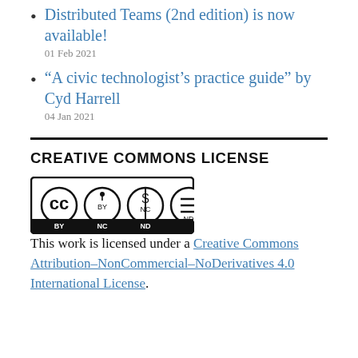Distributed Teams (2nd edition) is now available!
01 Feb 2021
“A civic technologist’s practice guide” by Cyd Harrell
04 Jan 2021
CREATIVE COMMONS LICENSE
[Figure (logo): Creative Commons BY NC ND license badge]
This work is licensed under a Creative Commons Attribution–NonCommercial–NoDerivatives 4.0 International License.